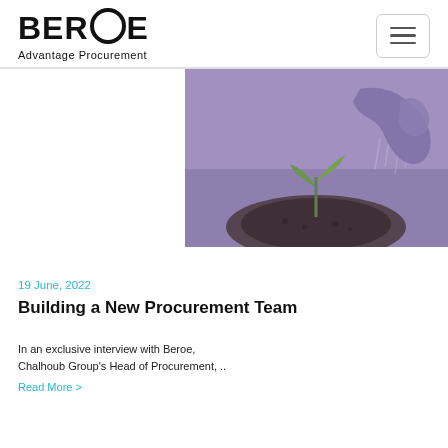BEROE Advantage Procurement
[Figure (photo): A hand watering a small green seedling sprouting from dark soil, photographed with a purple/violet color filter overlay.]
19 June, 2022
Building a New Procurement Team
In an exclusive interview with Beroe, Chalhoub Group's Head of Procurement, ..
Read More >